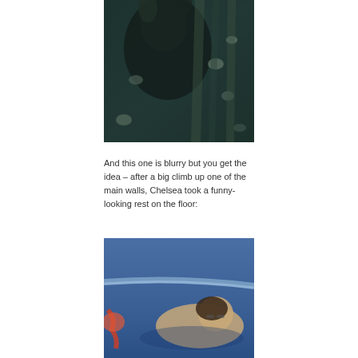[Figure (photo): Blurry close-up photo of a person on a dark rock climbing wall with climbing holds visible]
And this one is blurry but you get the idea – after a big climb up one of the main walls, Chelsea took a funny-looking rest on the floor:
[Figure (photo): Photo of a person lying on a blue floor/mat resting, viewed from above, with rope visible]